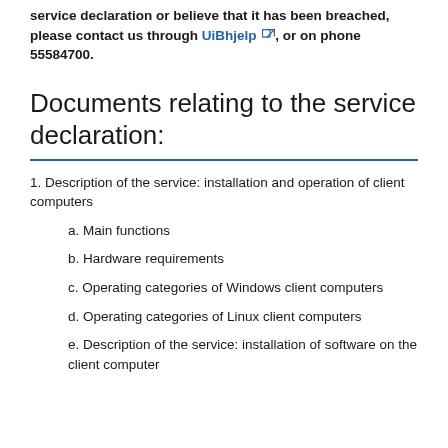service declaration or believe that it has been breached, please contact us through UiBhjelp, or on phone 55584700.
Documents relating to the service declaration:
1. Description of the service: installation and operation of client computers
a. Main functions
b. Hardware requirements
c. Operating categories of Windows client computers
d. Operating categories of Linux client computers
e. Description of the service: installation of software on the client computer